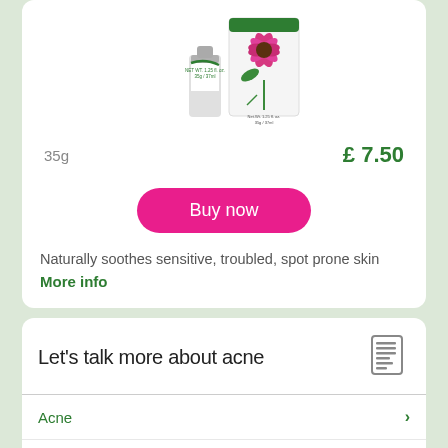[Figure (photo): Product image of a cream/gel tube and box with floral (echinacea) design, showing Net Wt. 1.25 fl. oz. / 35g / 37ml]
35g
£ 7.50
Buy now
Naturally soothes sensitive, troubled, spot prone skin
More info
Let's talk more about acne
Acne
Acne vulgaris
Causes